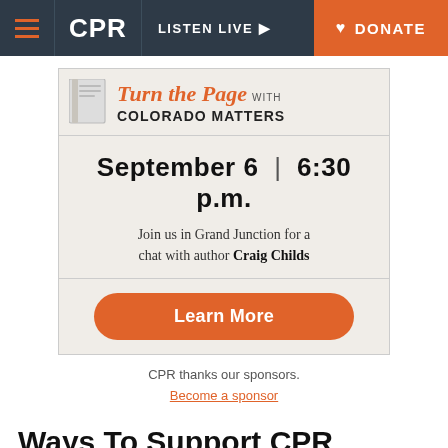CPR | LISTEN LIVE | DONATE
[Figure (infographic): Turn the Page with COLORADO MATTERS event card. September 6 | 6:30 p.m. Join us in Grand Junction for a chat with author Craig Childs. Learn More button.]
CPR thanks our sponsors. Become a sponsor
Ways To Support CPR
You make the news and music from Colorado Public Radio possible. Your active support builds our community,